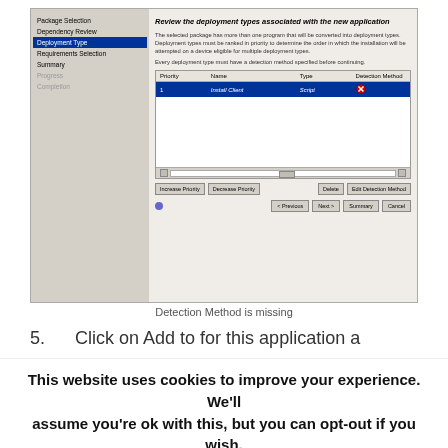[Figure (screenshot): Windows deployment wizard dialog showing 'Review the deployment types associated with the new application' with a sidebar navigation (Package Selection, Dependency Review, Deployment Type highlighted, Requirements Selection, Summary, Progress, Completion), a table with columns Priority, Name, Type, Detection Method showing one row (1, Install Client, Script, red X icon), and buttons: Increase Priority, Decrease Priority, Delete, Edit Detection Method, Previous, Next, Summary, Cancel.]
Detection Method is missing
5.     Click on Add to for this application a
This website uses cookies to improve your experience. We'll assume you're ok with this, but you can opt-out if you wish.
Accept
Read More